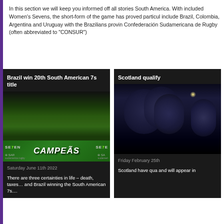In this section we will keep you informed off all stories South America. With included Women's Sevens, the short-form of the game has proved particul include Brazil, Colombia, Argentina and Uruguay with the Brazilians provin Confederación Sudamericana de Rugby (often abbreviated to "CONSUR")
[Figure (photo): Brazil rugby team celebrating winning the 20th South American 7s title, holding a trophy, wearing yellow and green jerseys, in front of a CAMPEÃS banner with SAR and SEVEN logos]
Brazil win 20th South American 7s title
Saturday June 11th 2022
There are three certainties in life – death, taxes… and Brazil winning the South American 7s....
[Figure (photo): Scotland women rugby players celebrating qualification, wearing dark navy jerseys, arms raised in celebration]
Scotland qualify
Friday February 25th
Scotland have qua and will appear in